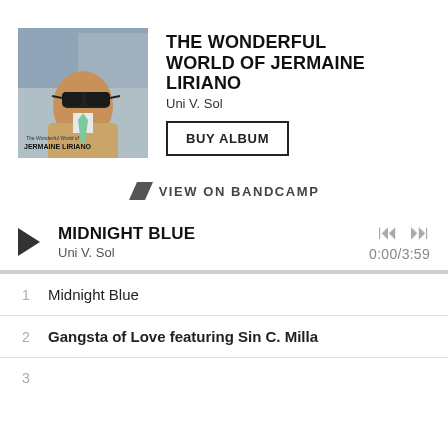[Figure (photo): Album cover for 'The Wonderful World of Jermaine Liriano' showing a man wearing sunglasses and a tan jacket with a green tie]
THE WONDERFUL WORLD OF JERMAINE LIRIANO
Uni V. Sol
BUY ALBUM
bc VIEW ON BANDCAMP
MIDNIGHT BLUE
Uni V. Sol
0:00/3:59
1  Midnight Blue
2  Gangsta of Love featuring Sin C. Milla
3  ...